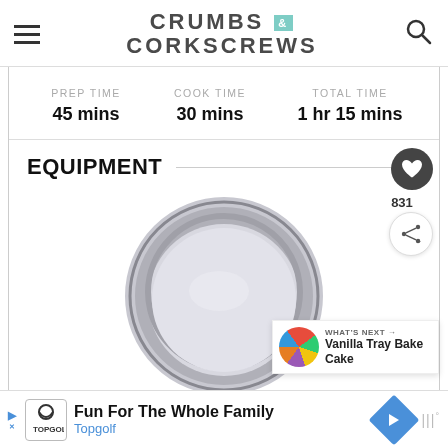CRUMBS & CORKSCREWS
PREP TIME 45 mins | COOK TIME 30 mins | TOTAL TIME 1 hr 15 mins
EQUIPMENT
[Figure (photo): A round silver 6 inch / 15 cm cake pan viewed from above, showing the interior of the pan]
6"/ 15cm Cake Pan
831
WHAT'S NEXT → Vanilla Tray Bake Cake
Fun For The Whole Family Topgolf